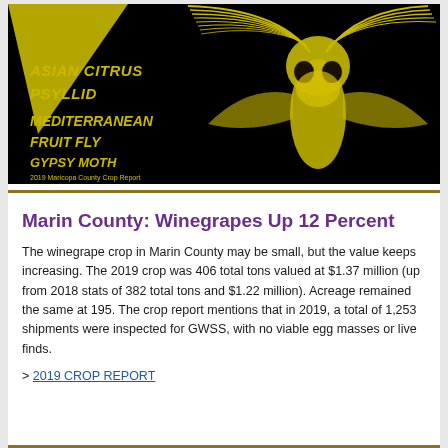[Figure (illustration): Black background image with yellow moth/insect closeup showing antennae and eyes, with yellow bold italic text listing: ASIAN CITRUS PSYLLID, MEDITERRANEAN FRUIT FLY, GYPSY MOTH, PLUS MANY MORE! Small text at bottom reads: 2019 Maricopa County Crop Report]
Marin County: Winegrapes Up 12 Percent
The winegrape crop in Marin County may be small, but the value keeps increasing. The 2019 crop was 406 total tons valued at $1.37 million (up from 2018 stats of 382 total tons and $1.22 million). Acreage remained the same at 195. The crop report mentions that in 2019, a total of 1,253 shipments were inspected for GWSS, with no viable egg masses or live finds.
> 2019 CROP REPORT